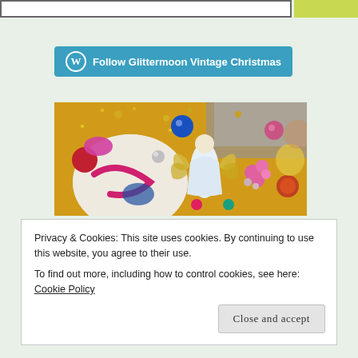[Figure (screenshot): Top navigation bar with white input area on left and yellow-green button on right]
[Figure (other): WordPress Follow button: 'Follow Glittermoon Vintage Christmas' in teal/blue rounded rectangle with WordPress logo circle]
[Figure (photo): Photo of vintage Christmas decorations including a white angel figurine, colorful ornaments, glitter, pink flowers, and gold items]
Privacy & Cookies: This site uses cookies. By continuing to use this website, you agree to their use.
To find out more, including how to control cookies, see here: Cookie Policy
Close and accept